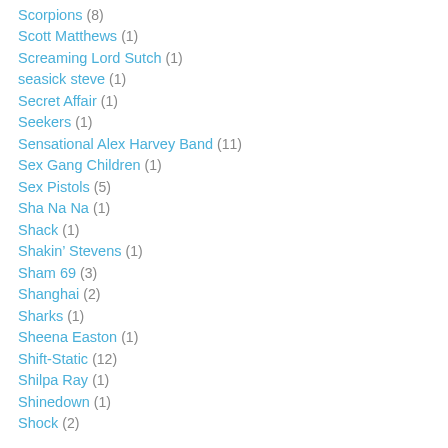Scorpions (8)
Scott Matthews (1)
Screaming Lord Sutch (1)
seasick steve (1)
Secret Affair (1)
Seekers (1)
Sensational Alex Harvey Band (11)
Sex Gang Children (1)
Sex Pistols (5)
Sha Na Na (1)
Shack (1)
Shakin' Stevens (1)
Sham 69 (3)
Shanghai (2)
Sharks (1)
Sheena Easton (1)
Shift-Static (12)
Shilpa Ray (1)
Shinedown (1)
Shock (2)